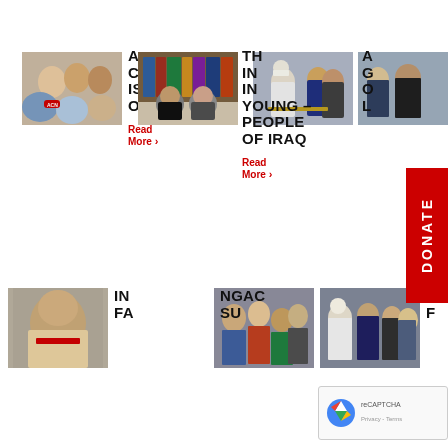[Figure (photo): Group of people smiling, holding ACN branded item, top left]
A C IS OPENED
Read More >
[Figure (photo): Students in masks studying at a library]
[Figure (photo): Pope Francis with officials, Iraq visit]
THE IN IN YOUNG PEOPLE OF IRAQ
Read More >
[Figure (photo): Partially visible, right edge of page]
A G O L
DONATE
[Figure (photo): Child with mask holding book, bottom left]
IN FA
[Figure (photo): Family group, bottom center]
NGAC SU
[Figure (photo): Pope Francis with officials, bottom right]
PO F